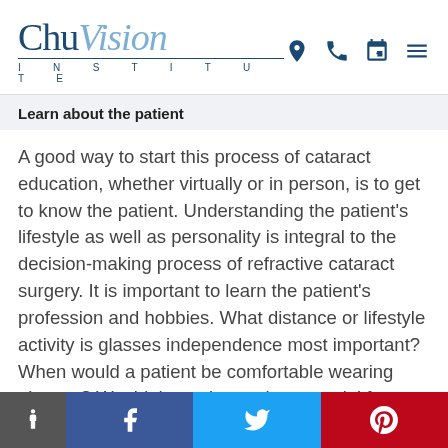ChuVision Institute
Learn about the patient
A good way to start this process of cataract education, whether virtually or in person, is to get to know the patient. Understanding the patient's lifestyle as well as personality is integral to the decision-making process of refractive cataract surgery. It is important to learn the patient's profession and hobbies. What distance or lifestyle activity is glasses independence most important? When would a patient be comfortable wearing glasses? Would they tolerate the potential for
Social links: Accessibility, Facebook, Twitter, Pinterest